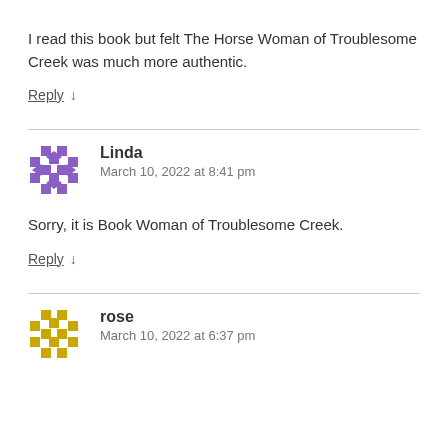I read this book but felt The Horse Woman of Troublesome Creek was much more authentic.
Reply ↓
Linda
March 10, 2022 at 8:41 pm
Sorry, it is Book Woman of Troublesome Creek.
Reply ↓
rose
March 10, 2022 at 6:37 pm